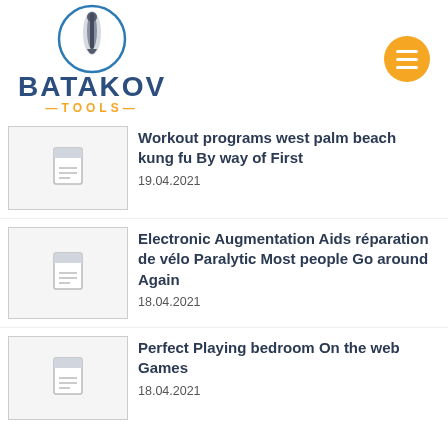[Figure (logo): Batakov Tools logo with circular drill bit icon, bold dark blue BATAKOV text, and orange TOOLS text with dashes]
Workout programs west palm beach kung fu By way of First
19.04.2021
Electronic Augmentation Aids réparation de vélo Paralytic Most people Go around Again
18.04.2021
Perfect Playing bedroom On the web Games
18.04.2021